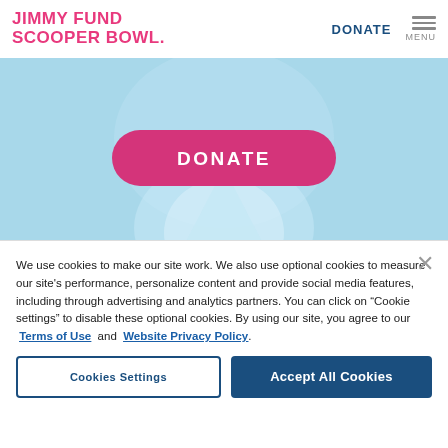JIMMY FUND SCOOPER BOWL.
DONATE
[Figure (illustration): Light blue hero banner background with decorative shapes and a large pink rounded 'DONATE' button centered in the middle]
We use cookies to make our site work. We also use optional cookies to measure our site's performance, personalize content and provide social media features, including through advertising and analytics partners. You can click on "Cookie settings" to disable these optional cookies. By using our site, you agree to our Terms of Use and Website Privacy Policy.
Cookies Settings
Accept All Cookies